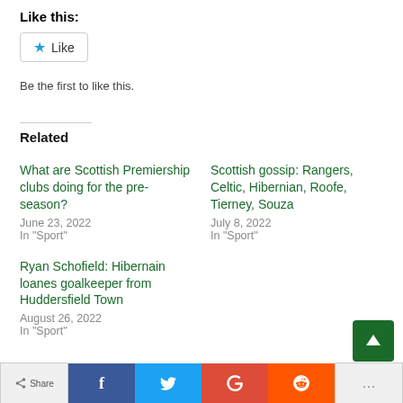Like this:
[Figure (other): Like button with star icon]
Be the first to like this.
Related
What are Scottish Premiership clubs doing for the pre-season?
June 23, 2022
In "Sport"
Scottish gossip: Rangers, Celtic, Hibernian, Roofe, Tierney, Souza
July 8, 2022
In "Sport"
Ryan Schofield: Hibernain loanes goalkeeper from Huddersfield Town
August 26, 2022
In "Sport"
[Figure (other): Scroll to top button (green arrow up)]
[Figure (other): Bottom share bar with social media buttons: grey share, Facebook, Twitter, Google, Reddit, grey button]